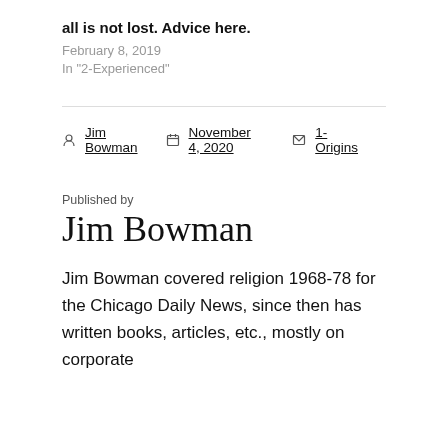all is not lost. Advice here.
February 8, 2019
In "2-Experienced"
Jim Bowman   November 4, 2020   1-Origins
Published by
Jim Bowman
Jim Bowman covered religion 1968-78 for the Chicago Daily News, since then has written books, articles, etc., mostly on corporate